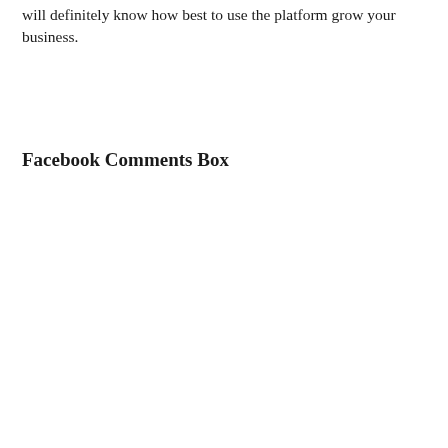will definitely know how best to use the platform grow your business.
Facebook Comments Box